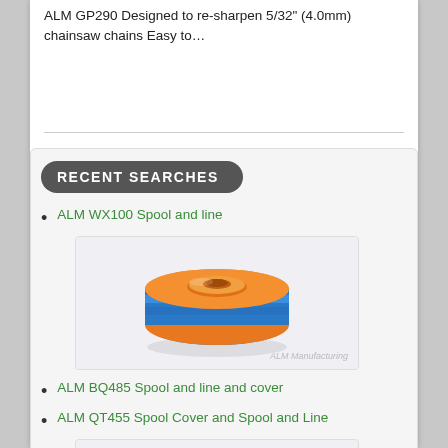ALM GP290 Designed to re-sharpen 5/32" (4.0mm) chainsaw chains Easy to…
RECENT SEARCHES
ALM WX100 Spool and line
[Figure (photo): Orange and blue spool/line trimmer component product photo with ALM Manufacturing watermark]
ALM BQ485 Spool and line and cover
ALM QT455 Spool Cover and Spool and Line
[Figure (photo): Partial view of another orange/black spool product photo]